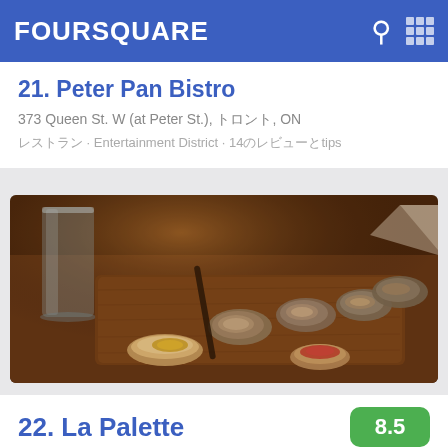FOURSQUARE
21. Peter Pan Bistro
373 Queen St. W (at Peter St.), トロント, ON
レストラン · Entertainment District · 14のtips and reviews
[Figure (photo): Dark-lit overhead photo of oysters on a wooden platter with condiments and a glass of water on a restaurant table]
22. La Palette
8.5
492 Queen Street West (at Denison), トロント, ON
レストラン · 47のtips and reviews